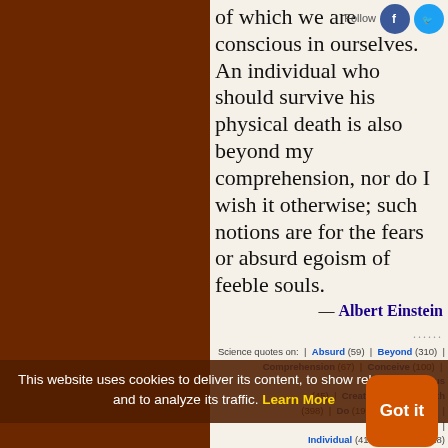of which we are conscious in ourselves. An individual who should survive his physical death is also beyond my comprehension, nor do I wish it otherwise; such notions are for the fears or absurd egoism of feeble souls.
— Albert Einstein
Science quotes on: | Absurd (59) | Beyond (310) | Comprehension (67) | Conceive (100) | Conscious (45) | Creature (239) | Death (398) | Do (1905) | Fear (207) | God (764) | Individual (411) | Notion (118) | Ourselves (245) | Physical | Punish (9) | Reward (70) | Soul (231) | Survive (82) | Type (167) | Will (2358)
This website uses cookies to deliver its content, to show relevant ads and to analyze its traffic. Learn More